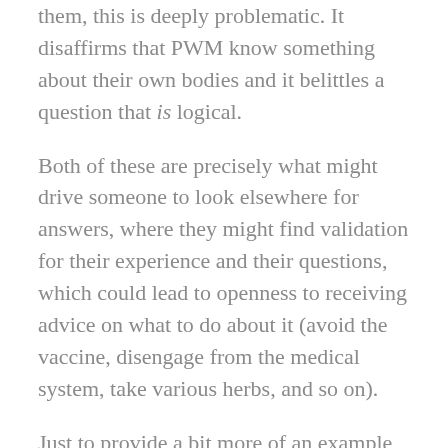them, this is deeply problematic. It disaffirms that PWM know something about their own bodies and it belittles a question that is logical.
Both of these are precisely what might drive someone to look elsewhere for answers, where they might find validation for their experience and their questions, which could lead to openness to receiving advice on what to do about it (avoid the vaccine, disengage from the medical system, take various herbs, and so on).
Just to provide a bit more of an example, I reproduce below a Slack thread from Jan 2022 in which women (in this case, all the PWM who were conversing were women) are figuring it out–but we're just guessing and, frankly, doing our own